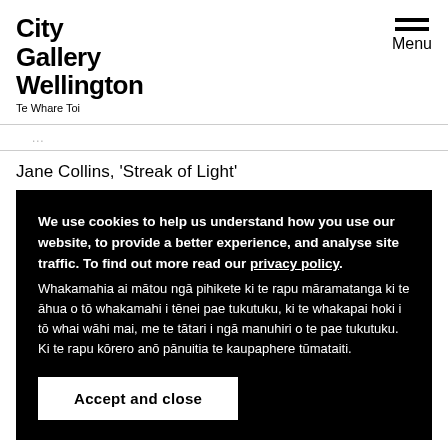City Gallery Wellington Te Whare Toi | Menu
Jane Collins, 'Streak of Light'
We use cookies to help us understand how you use our website, to provide a better experience, and analyse site traffic. To find out more read our privacy policy. Whakamahia ai mātou ngā pihikete ki te rapu māramatanga ki te āhua o tō whakamahi i tēnei pae tukutuku, ki te whakapai hoki i tō whai wāhi mai, me te tātari i ngā manuhiri o te pae tukutuku. Ki te rapu kōrero anō pānuitia te kaupaphere tūmataiti.
Accept and close